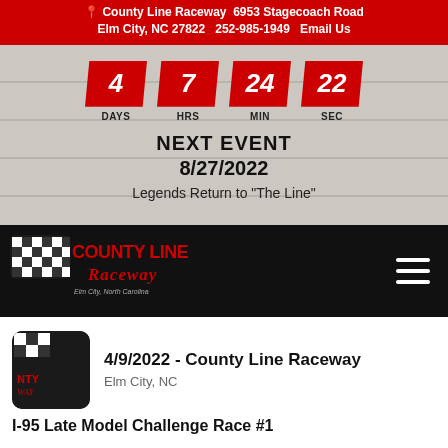County Line Raceway  6953 Stagecoach Road  Elm City, NC 27822  252-985-1949  Email Us
[Figure (screenshot): Countdown timer on wood-plank background showing 4 DAYS, 7 HRS, 24 MIN, 22 SEC in red parallelogram boxes. Below: NEXT EVENT 8/27/2022 Legends Return to 'The Line'. County Line Raceway logo on black bar with hamburger menu.]
4/9/2022 - County Line Raceway  Elm City, NC
I-95 Late Model Challenge Race #1